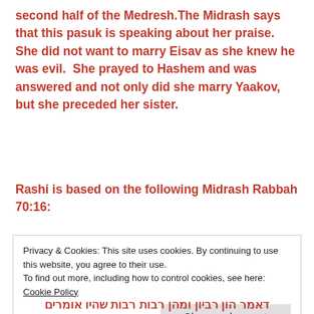second half of the Medresh.The Midrash says that this pasuk is speaking about her praise.  She did not want to marry Eisav as she knew he was evil.  She prayed to Hashem and was answered and not only did she marry Yaakov, but she preceded her sister.
Rashi is based on the following Midrash Rabbah 70:16:
Privacy & Cookies: This site uses cookies. By continuing to use this website, you agree to their use.
To find out more, including how to control cookies, see here: Cookie Policy
Close and accept
דאמר הון רביון  ומהן רבות רבות שהיו אומרים